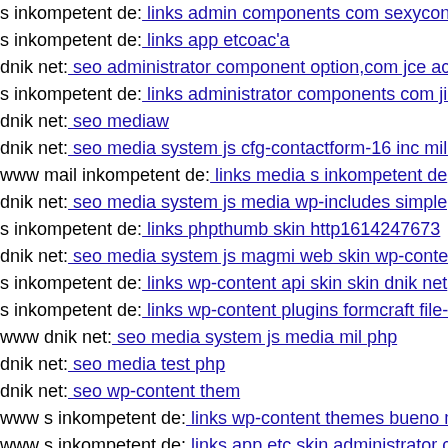s inkompetent de: links admin components com sexyconta...
s inkompetent de: links app etcoac'a
dnik net: seo administrator component option,com jce actio...
s inkompetent de: links administrator components com jin...
dnik net: seo mediaw
dnik net: seo media system js cfg-contactform-16 inc mil p...
www mail inkompetent de: links media s inkompetent de
dnik net: seo media system js media wp-includes simplep...
s inkompetent de: links phpthumb skin http1614247673
dnik net: seo media system js magmi web skin wp-content...
s inkompetent de: links wp-content api skin skin dnik net
s inkompetent de: links wp-content plugins formcraft file-u...
www dnik net: seo media system js media mil php
dnik net: seo media test php
dnik net: seo wp-content them
www s inkompetent de: links wp-content themes bueno m...
www s inkompetent de: links app etc skin administrator co...
dnik net: seo media system js sites default files component...
dnik net: seo administrator components com bt portfolio co...
s inkompetent de: links manager skin index php
s inkompetent de: links phpthumb api administrator...